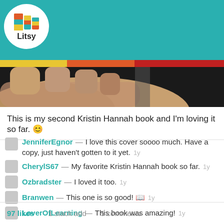[Figure (screenshot): Litsy app navigation bar with logo, home, search, add, notification, and profile icons on teal background with colored stripe]
[Figure (photo): Close-up photo of a hand holding a book, dark background]
This is my second Kristin Hannah book and I'm loving it so far. 😊
JenniferEgnor — I love this cover soooo much. Have a copy, just haven't gotten to it yet. 1y
CherylS67 — My favorite Kristin Hannah book so far. 1y
Ozbradster — I loved it too. 1y
Branwen — This one is so good! 📖 1y
LoverOfLearning — This book was amazing! 1y
97 likes   1 stack add   5 comments